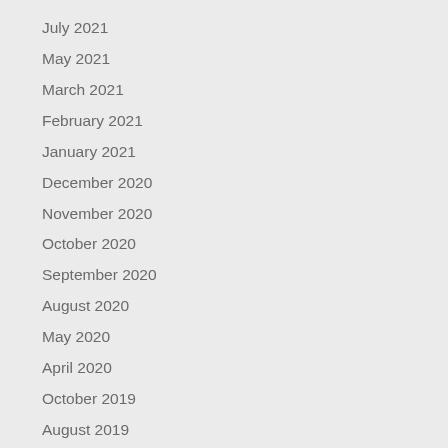July 2021
May 2021
March 2021
February 2021
January 2021
December 2020
November 2020
October 2020
September 2020
August 2020
May 2020
April 2020
October 2019
August 2019